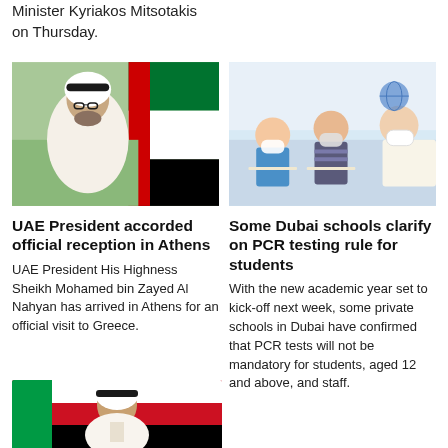Minister Kyriakos Mitsotakis on Thursday.
[Figure (photo): UAE President Sheikh Mohamed bin Zayed Al Nahyan standing in front of UAE flag]
UAE President accorded official reception in Athens
UAE President His Highness Sheikh Mohamed bin Zayed Al Nahyan has arrived in Athens for an official visit to Greece.
[Figure (photo): Children wearing masks writing at desks in a classroom]
Some Dubai schools clarify on PCR testing rule for students
With the new academic year set to kick-off next week, some private schools in Dubai have confirmed that PCR tests will not be mandatory for students, aged 12 and above, and staff.
[Figure (photo): UAE official portrait photo at bottom of page]